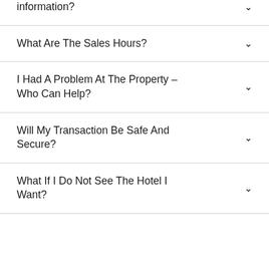information?
What Are The Sales Hours?
I Had A Problem At The Property – Who Can Help?
Will My Transaction Be Safe And Secure?
What If I Do Not See The Hotel I Want?